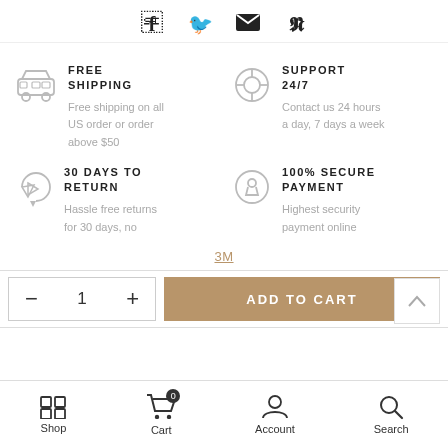[Figure (infographic): Social media share icons: Facebook, Twitter, Email, Pinterest]
FREE SHIPPING
Free shipping on all US order or order above $50
SUPPORT 24/7
Contact us 24 hours a day, 7 days a week
30 DAYS TO RETURN
Hassle free returns for 30 days, no
100% SECURE PAYMENT
Highest security payment online
3M
ADD TO CART
Shop
Cart
Account
Search